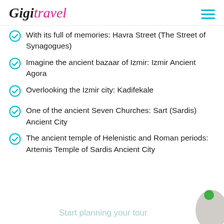GigiTravel
With its full of memories: Havra Street (The Street of Synagogues)
Imagine the ancient bazaar of Izmir: Izmir Ancient Agora
Overlooking the Izmir city: Kadifekale
One of the ancient Seven Churches: Sart (Sardis) Ancient City
The ancient temple of Helenistic and Roman periods: Artemis Temple of Sardis Ancient City
Start planning your tour